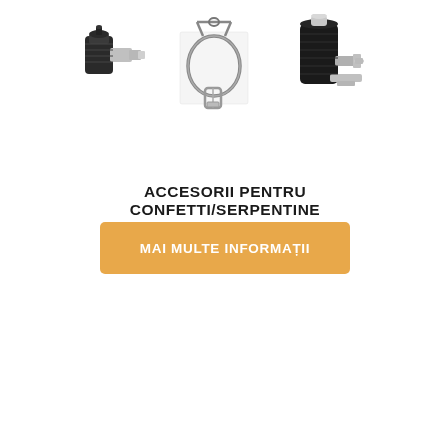[Figure (photo): Three accessory items for confetti/serpentine machines: a gas connector fitting (left), a steel wire cable loop with carabiner clip (center), and a black cylindrical mounting clamp with wing nut (right)]
ACCESORII PENTRU CONFETTI/SERPENTINE
MAI MULTE INFORMAȚII